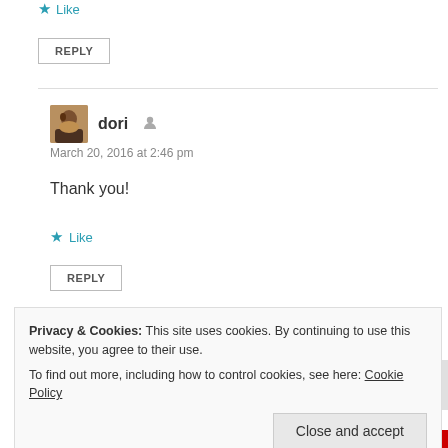★ Like
REPLY
dori
March 20, 2016 at 2:46 pm
Thank you!
★ Like
REPLY
Privacy & Cookies: This site uses cookies. By continuing to use this website, you agree to their use.
To find out more, including how to control cookies, see here: Cookie Policy
Close and accept